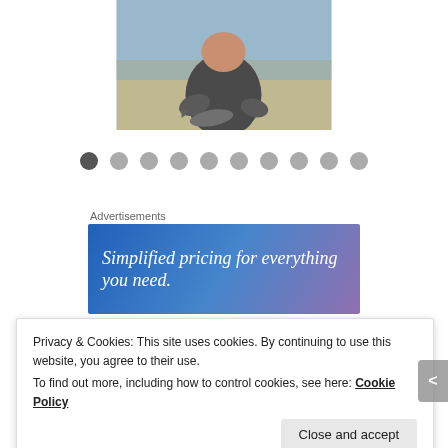[Figure (photo): Person holding a fish on a boat near water, wearing a patterned jacket]
[Figure (other): Carousel navigation dots — 10 dots, first one darker/active]
Advertisements
[Figure (other): Advertisement banner with gradient blue-to-purple background and white italic text: 'Simplified pricing for everything you need.']
Privacy & Cookies: This site uses cookies. By continuing to use this website, you agree to their use.
To find out more, including how to control cookies, see here: Cookie Policy
Close and accept